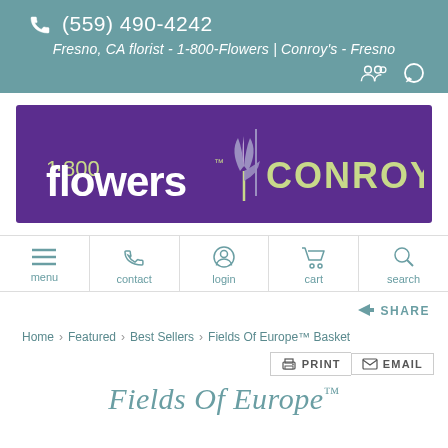(559) 490-4242
Fresno, CA florist - 1-800-Flowers | Conroy's - Fresno
[Figure (logo): 1-800-Flowers | Conroy's logo on purple background with tulip icon]
[Figure (infographic): Navigation bar with menu, contact, login, cart, and search icons]
SHARE
Home   Featured   Best Sellers   Fields Of Europe™ Basket
PRINT   EMAIL
Fields Of Europe™